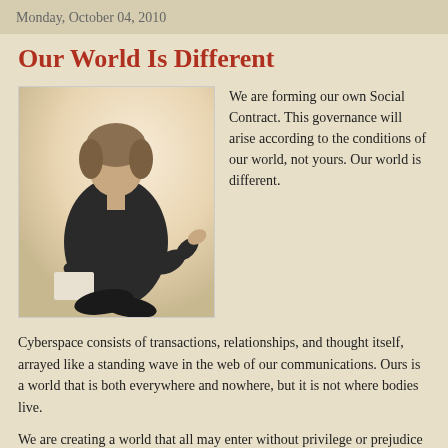Monday, October 04, 2010
Our World Is Different
[Figure (photo): A man with medium-length hair wearing a dark jacket, seated, gesturing with one hand, against a light background.]
We are forming our own Social Contract. This governance will arise according to the conditions of our world, not yours. Our world is different.
Cyberspace consists of transactions, relationships, and thought itself, arrayed like a standing wave in the web of our communications. Ours is a world that is both everywhere and nowhere, but it is not where bodies live.
We are creating a world that all may enter without privilege or prejudice accorded by race, economic power, military force, or station of birth.